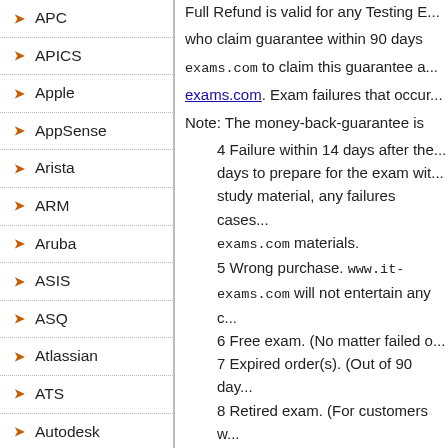APC
APICS
Apple
AppSense
Arista
ARM
Aruba
ASIS
ASQ
Atlassian
ATS
Autodesk
Avaya
Full Refund is valid for any Testing E... who claim guarantee within 90 days exams.com to claim this guarantee a... exams.com. Exam failures that occur... Note: The money-back-guarantee is... 4 Failure within 14 days after the... days to prepare for the exam wit... study material, any failures cases... exams.com materials. 5 Wrong purchase. www.it-exams.com will not entertain any c... 6 Free exam. (No matter failed o... 7 Expired order(s). (Out of 90 day... 8 Retired exam. (For customers w... 9 All Study Guides. Audio Exams... 10 Hard copies only. (Hard copie... 11 Products on sale. (Products th... 12 Different names. (Candidate's... 13 The refund option is not valid... 14 Guarantee Policy is not applic... exams.com provides only the prac... 15 Outdated Exam Products. For...